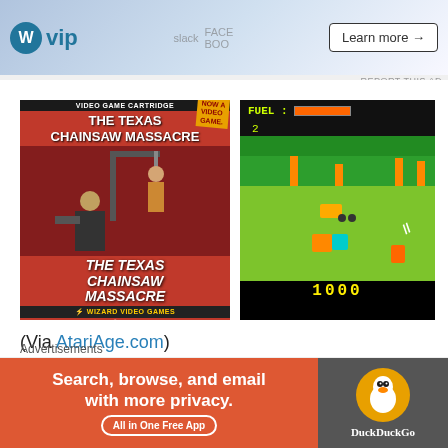[Figure (photo): Top advertisement banner with WordPress VIP logo and 'Learn more' button, with colorful background showing Slack, Facebook logos]
[Figure (photo): The Texas Chainsaw Massacre video game cartridge cover for Atari, published by Wizard Video Games, showing movie characters]
[Figure (screenshot): Atari 2600 gameplay screenshot of The Texas Chainsaw Massacre game showing green field, characters, score of 1000, and FUEL indicator]
(Via AtariAge.com)
Also in 1983, and also for the Atari 2600, Wizard Video Games released a video game based on The Texas
Advertisements
[Figure (photo): DuckDuckGo advertisement: 'Search, browse, and email with more privacy. All in One Free App' with orange background and DuckDuckGo logo on dark background]